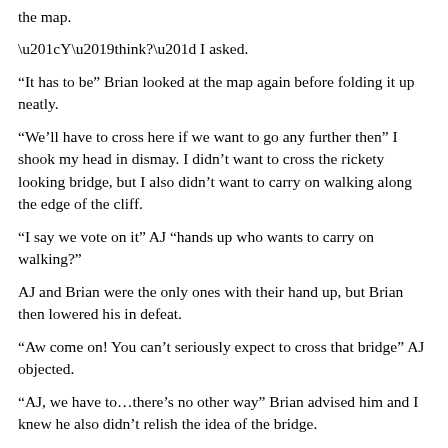the map.
“Y’think?” I asked.
“It has to be” Brian looked at the map again before folding it up neatly.
“We’ll have to cross here if we want to go any further then” I shook my head in dismay. I didn’t want to cross the rickety looking bridge, but I also didn’t want to carry on walking along the edge of the cliff.
“I say we vote on it” AJ “hands up who wants to carry on walking?”
AJ and Brian were the only ones with their hand up, but Brian then lowered his in defeat.
“Aw come on! You can’t seriously expect to cross that bridge” AJ objected.
“AJ, we have to…there’s no other way” Brian advised him and I knew he also didn’t relish the idea of the bridge.
“Fine…whatever dude…you go first then” he threw his hands in the air in exasperation.